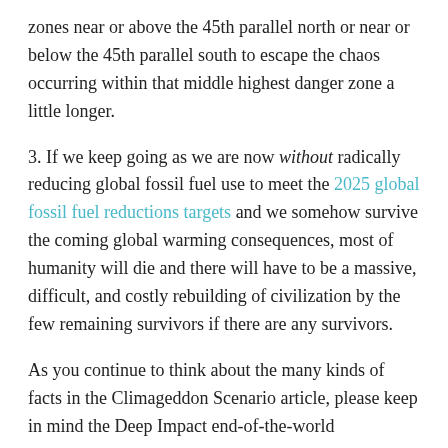zones near or above the 45th parallel north or near or below the 45th parallel south to escape the chaos occurring within that middle highest danger zone a little longer.
3. If we keep going as we are now without radically reducing global fossil fuel use to meet the 2025 global fossil fuel reductions targets and we somehow survive the coming global warming consequences, most of humanity will die and there will have to be a massive, difficult, and costly rebuilding of civilization by the few remaining survivors if there are any survivors.
As you continue to think about the many kinds of facts in the Climageddon Scenario article, please keep in mind the Deep Impact end-of-the-world